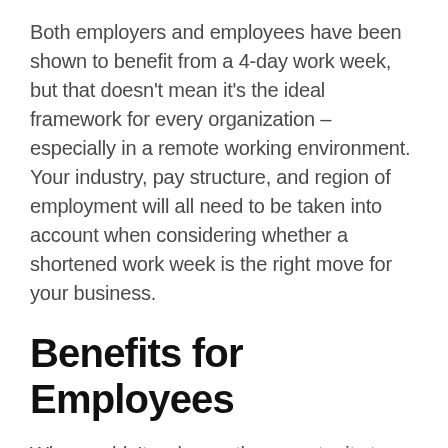Both employers and employees have been shown to benefit from a 4-day work week, but that doesn't mean it's the ideal framework for every organization – especially in a remote working environment. Your industry, pay structure, and region of employment will all need to be taken into account when considering whether a shortened work week is the right move for your business.
Benefits for Employees
Who wouldn't welcome the opportunity to spend more time with family and friends, pursue a hobby, learn a new skill, or help out in the local community? One recent survey indicated that 88%